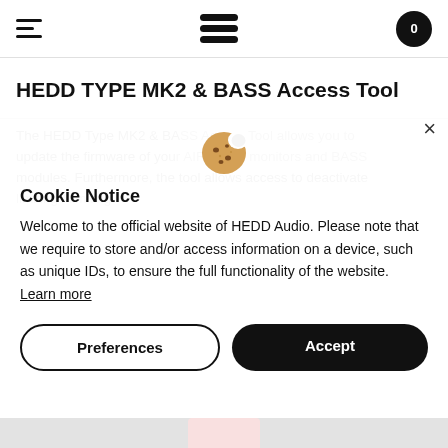Navigation header with hamburger menu, logo icon, and cart (0)
HEDD TYPE MK2 & BASS Access Tool
The HEDD Type MK2 & BASS Access Tool allows you to update the firmware of your AIR series monitors and BASS modules. Furthermore, the tool allows access to deactivate the limiting / limiting.
Cookie Notice
Welcome to the official website of HEDD Audio. Please note that we require to store and/or access information on a device, such as unique IDs, to ensure the full functionality of the website. Learn more